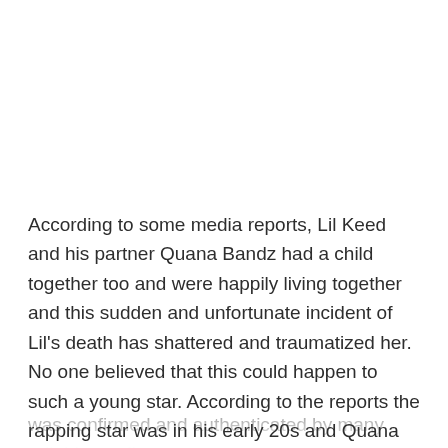According to some media reports, Lil Keed and his partner Quana Bandz had a child together too and were happily living together and this sudden and unfortunate incident of Lil's death has shattered and traumatized her. No one believed that this could happen to such a young star. According to the reports the rapping star was in his early 20s and Quana Bandz was too in her early 20s. The news about Lil's demise was confirmed and authenticated by many reliable media